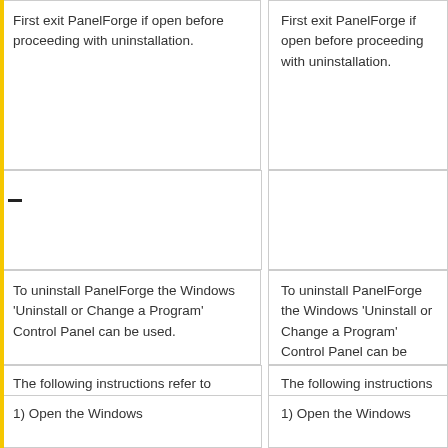First exit PanelForge if open before proceeding with uninstallation.
First exit PanelForge if open before proceeding with uninstallation.
To uninstall PanelForge the Windows 'Uninstall or Change a Program' Control Panel can be used.
To uninstall PanelForge the Windows 'Uninstall or Change a Program' Control Panel can be used.
The following instructions refer to Windows 7, under other version of Windows the method may vary.
The following instructions refer to Windows 7, under other version of Windows the method may vary.
1) Open the Windows
1) Open the Windows